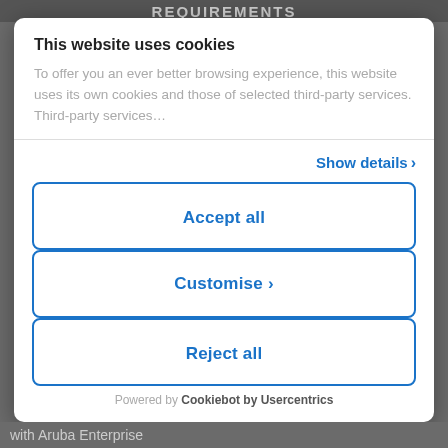REQUIREMENTS
This website uses cookies
To offer you an ever better browsing experience, this website uses its own cookies and those of selected third-party services. Third-party services…
Show details ›
Accept all
Customise ›
Reject all
Powered by Cookiebot by Usercentrics
with Aruba Enterprise